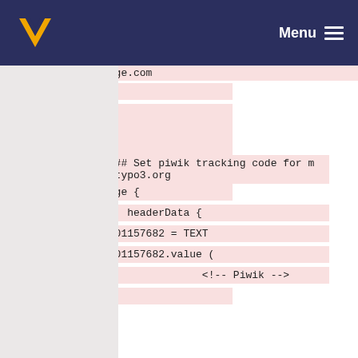Menu
[Figure (screenshot): Code diff view showing lines 32-41 of a configuration file with piwik tracking code for my.typo3.org. Lines shown with deletion markers (-) on pink background. Line numbers in left gutter.]